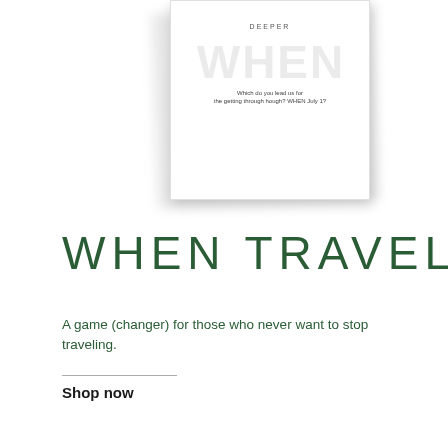[Figure (photo): Book cover showing 'WHEN TRAVELING' product with 'DEEPER' text at top and large watermark 'WHEN' text on white background, slightly tilted with shadow effect]
WHEN TRAVELING
A game (changer) for those who never want to stop traveling.
Shop now